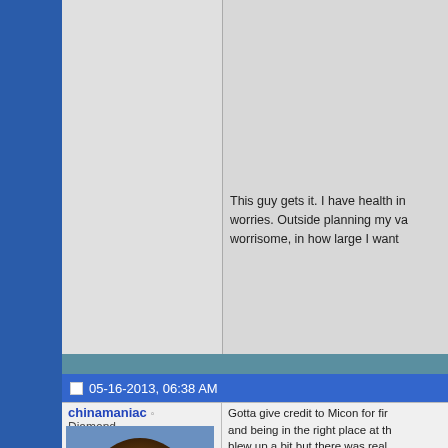people brag about having which is fine too i guess. nice to see you acting lik
This guy gets it. I have health in worries. Outside planning my va worrisome, in how large I want
05-16-2013, 06:38 AM
chinamaniac
Diamond
[Figure (photo): Photo of a lion facing forward with a large mane, close-up portrait]
Reputation: -007
Gotta give credit to Micon for fir and being in the right place at th blew up a bit but there was real with NWP but fucked that up pr day but unless you are running no money there.

Bitcoins have been big for SWO players is less than desirable bu Micon and he deserves credit fo has taken of the years. Hopeful mistakes trying to be a poker pr money. It could potentially set h 20k prop bets ya never know wh